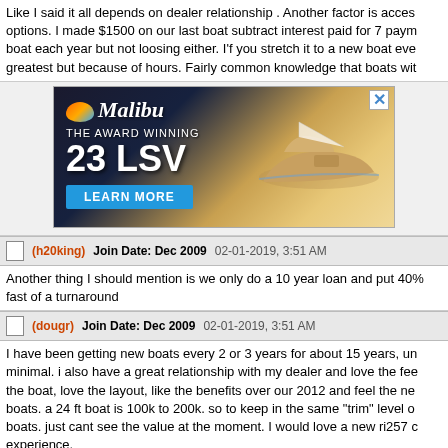Like I said it all depends on dealer relationship . Another factor is access options. I made $1500 on our last boat subtract interest paid for 7 paym boat each year but not loosing either. I'f you stretch it to a new boat eve greatest but because of hours. Fairly common knowledge that boats wit
[Figure (photo): Malibu Boats advertisement showing 23 LSV model with a boat on water and 'LEARN MORE' button]
(h20king)   Join Date: Dec 2009   02-01-2019, 3:51 AM
Another thing I should mention is we only do a 10 year loan and put 40% fast of a turnaround
(dougr)   Join Date: Dec 2009   02-01-2019, 3:51 AM
I have been getting new boats every 2 or 3 years for about 15 years, un minimal. i also have a great relationship with my dealer and love the fee the boat, love the layout, like the benefits over our 2012 and feel the ne boats. a 24 ft boat is 100k to 200k. so to keep in the same "trim" level o boats. just cant see the value at the moment. I would love a new ri257 c experience.

i also do not buy used boats, so its hard to move to used boats, as i kno boats, but I see a major difference with my area, and see boats on dock So i worry about having problems that I did not create.